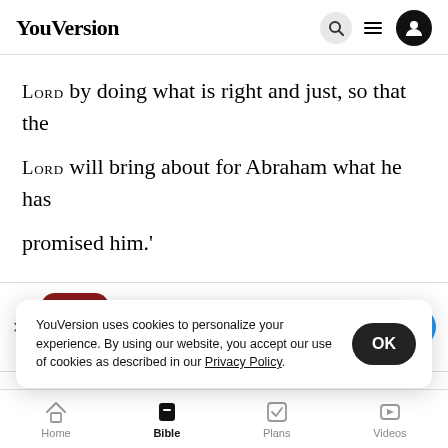YouVersion
LORD by doing what is right and just, so that the LORD will bring about for Abraham what he has promised him.'
20 Then the LORD said, 'The outcry against Sodom and Gomorrah is so great and their sin so
[Figure (screenshot): App download banner for The Bible App with icon, 5-star rating (7.9M), and Download button]
done is as bad as the outcry that has re... d
me. If n
22 Th
YouVersion uses cookies to personalize your experience. By using our website, you accept our use of cookies as described in our Privacy Policy.
Home  Bible  Plans  Videos